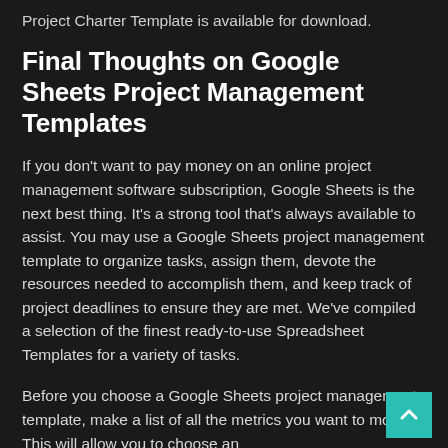Project Charter Template is available for download.
Final Thoughts on Google Sheets Project Management Templates
If you don't want to pay money on an online project management software subscription, Google Sheets is the next best thing. It's a strong tool that's always available to assist. You may use a Google Sheets project management template to organize tasks, assign them, devote the resources needed to accomplish them, and keep track of project deadlines to ensure they are met. We've compiled a selection of the finest ready-to-use Spreadsheet Templates for a variety of tasks.
Before you choose a Google Sheets project management template, make a list of all the metrics you want to monitor. This will allow you to choose an